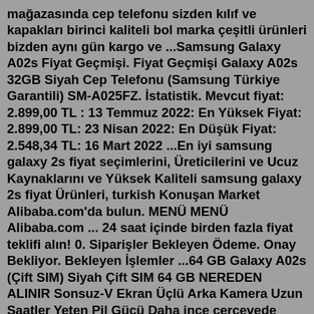mağazasında cep telefonu sizden kılıf ve kapakları birinci kaliteli bol marka çeşitli ürünleri bizden aynı gün kargo ve ...Samsung Galaxy A02s Fiyat Geçmişi. Fiyat Geçmişi Galaxy A02s 32GB Siyah Cep Telefonu (Samsung Türkiye Garantili) SM-A025FZ. İstatistik. Mevcut fiyat: 2.899,00 TL : 13 Temmuz 2022: En Yüksek Fiyat: 2.899,00 TL: 23 Nisan 2022: En Düşük Fiyat: 2.548,34 TL: 16 Mart 2022 ...En iyi samsung galaxy 2s fiyat seçimlerini, Üreticilerini ve Ucuz Kaynaklarını ve Yüksek Kaliteli samsung galaxy 2s fiyat Ürünleri, turkish Konuşan Market Alibaba.com'da bulun. MENÜ MENÜ Alibaba.com ... 24 saat içinde birden fazla fiyat teklifi alın! 0. Siparişler Bekleyen Ödeme. Onay Bekliyor. Bekleyen İşlemler ...64 GB Galaxy A02s (Çift SIM) Siyah Çift SIM 64 GB NEREDEN ALINIR Sonsuz-V Ekran Üçlü Arka Kamera Uzun Saatler Yeten Pil Gücü Daha ince çerçevede daha çok görüntü elde edin Galaxy A02s'in 6,5'' Sonsuz-V Ekran'ı ile nasıl daha büyük bir görüş alanına sahip olabileceğinizi keşfedin. HD+ teknolojisi sayesinde çok bu net...